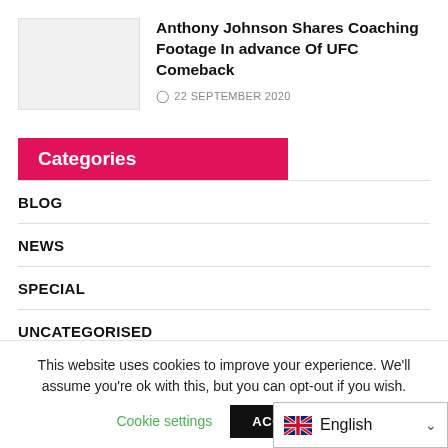[Figure (photo): Thumbnail image placeholder (light gray box)]
Anthony Johnson Shares Coaching Footage In advance Of UFC Comeback
22 SEPTEMBER 2020
Categories
BLOG
NEWS
SPECIAL
UNCATEGORISED
This website uses cookies to improve your experience. We'll assume you're ok with this, but you can opt-out if you wish.
Cookie settings
ACCEPT
English